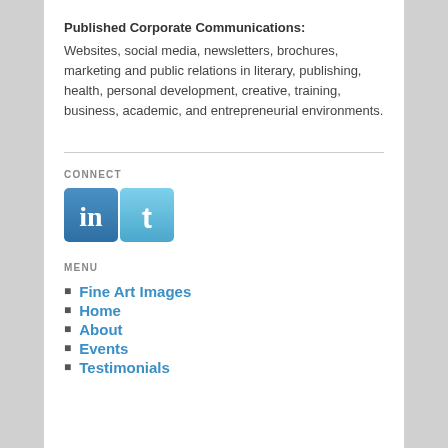Published Corporate Communications:
Websites, social media, newsletters, brochures, marketing and public relations in literary, publishing, health, personal development, creative, training, business, academic, and entrepreneurial environments.
CONNECT
[Figure (logo): LinkedIn and Twitter social media icon buttons]
MENU
Fine Art Images
Home
About
Events
Testimonials